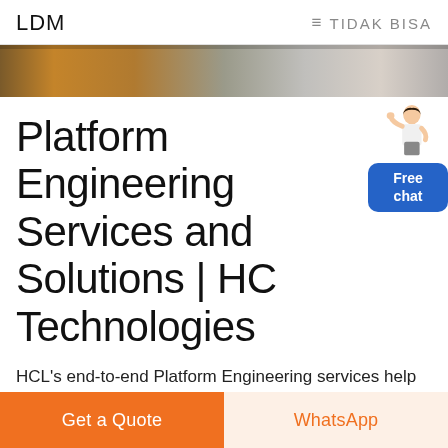LDM  ≡ TIDAK BISA
[Figure (photo): Hero banner image showing engineering/industrial scene with warm tones]
Platform Engineering Services and Solutions | HCL Technologies
[Figure (illustration): Customer service representative figure with Free chat button widget]
HCL's end-to-end Platform Engineering services help our customers in achieving the best value from their engineering investments in building, running, and maintaining their high-performance, secure, and highly
Get a Quote   WhatsApp